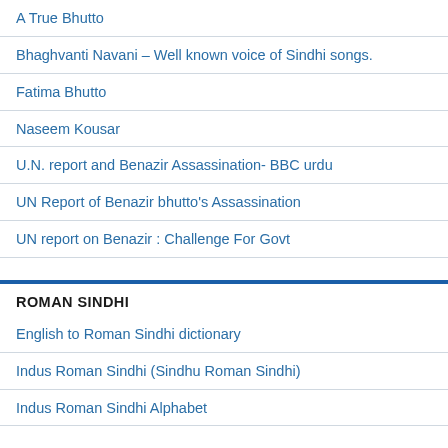A True Bhutto
Bhaghvanti Navani – Well known voice of Sindhi songs.
Fatima Bhutto
Naseem Kousar
U.N. report and Benazir Assassination- BBC urdu
UN Report of Benazir bhutto's Assassination
UN report on Benazir : Challenge For Govt
ROMAN SINDHI
English to Roman Sindhi dictionary
Indus Roman Sindhi (Sindhu Roman Sindhi)
Indus Roman Sindhi Alphabet